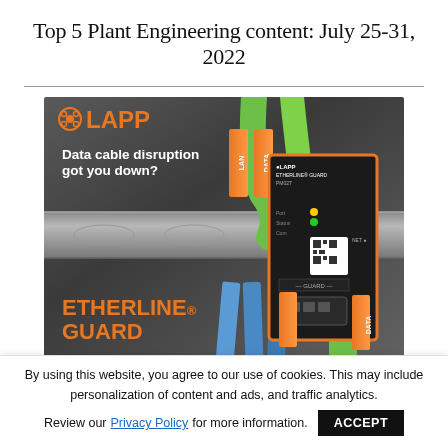Top 5 Plant Engineering content: July 25-31, 2022
[Figure (photo): LAPP Etherline Guard product advertisement showing the device mounted on a DIN rail with green and blue ethernet cables connected. Text reads 'Data cable disruption got you down?' and 'ETHERLINE® GUARD' in orange.]
By using this website, you agree to our use of cookies. This may include personalization of content and ads, and traffic analytics.
Review our Privacy Policy for more information.